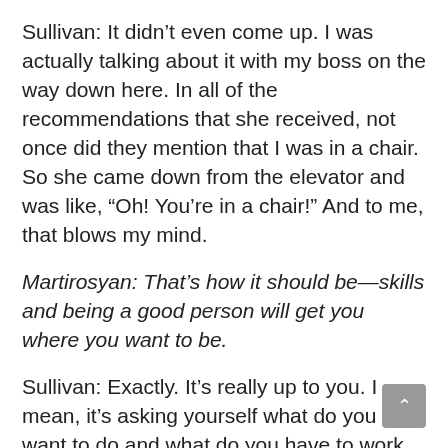Sullivan: It didn't even come up. I was actually talking about it with my boss on the way down here. In all of the recommendations that she received, not once did they mention that I was in a chair. So she came down from the elevator and was like, “Oh! You’re in a chair!” And to me, that blows my mind.
Martirosyan: That’s how it should be—skills and being a good person will get you where you want to be.
Sullivan: Exactly. It’s really up to you. I mean, it’s asking yourself what do you want to do and what do you have to work with? And then do it.